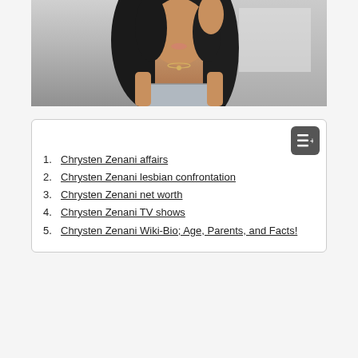[Figure (photo): Photo of Chrysten Zenani, a woman with long dark hair wearing a strapless patterned top, posing indoors]
1. Chrysten Zenani affairs
2. Chrysten Zenani lesbian confrontation
3. Chrysten Zenani net worth
4. Chrysten Zenani TV shows
5. Chrysten Zenani Wiki-Bio; Age, Parents, and Facts!